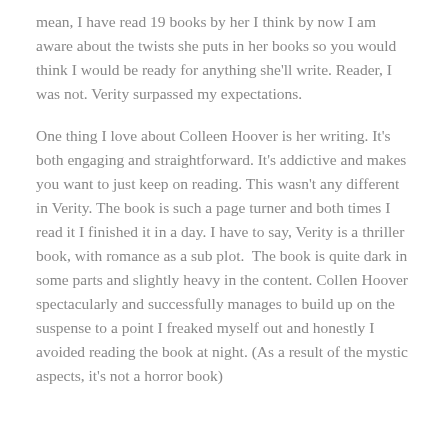mean, I have read 19 books by her I think by now I am aware about the twists she puts in her books so you would think I would be ready for anything she'll write. Reader, I was not. Verity surpassed my expectations.
One thing I love about Colleen Hoover is her writing. It's both engaging and straightforward. It's addictive and makes you want to just keep on reading. This wasn't any different in Verity. The book is such a page turner and both times I read it I finished it in a day. I have to say, Verity is a thriller book, with romance as a sub plot.  The book is quite dark in some parts and slightly heavy in the content. Collen Hoover spectacularly and successfully manages to build up on the suspense to a point I freaked myself out and honestly I avoided reading the book at night. (As a result of the mystic aspects, it's not a horror book)